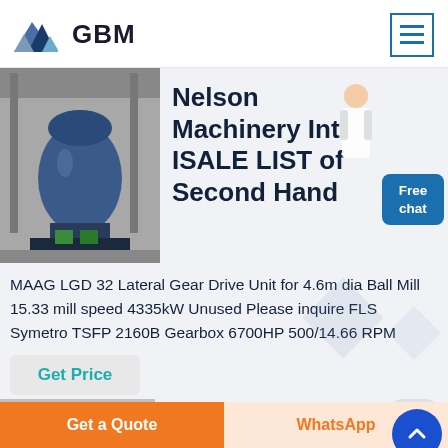GBM
[Figure (photo): Industrial ball mill machine in a factory setting]
Nelson Machinery Int ISALE LIST of Second Hand
MAAG LGD 32 Lateral Gear Drive Unit for 4.6m dia Ball Mill 15.33 mill speed 4335kW Unused Please inquire FLS Symetro TSFP 2160B Gearbox 6700HP 500/14.66 RPM
Get Price
[Figure (photo): Ball mill equipment partially visible at bottom]
Ball Mills for sale
Get a Quote  WhatsApp